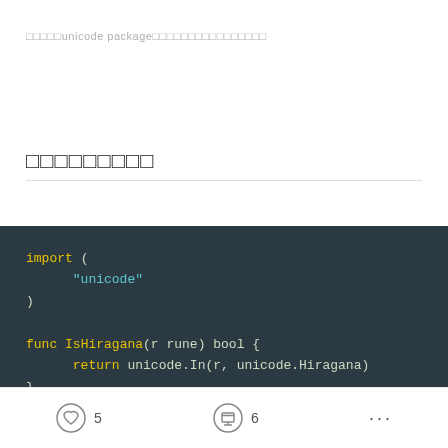□□□□□unicode package□□□□□□□□□□□□□□□□
□□□□□□□□□
[Figure (screenshot): Code block with dark background showing Go language code importing unicode package and a func IsHiragana(r rune) bool function returning unicode.In(r, unicode.Hiragana)]
5  6  ...